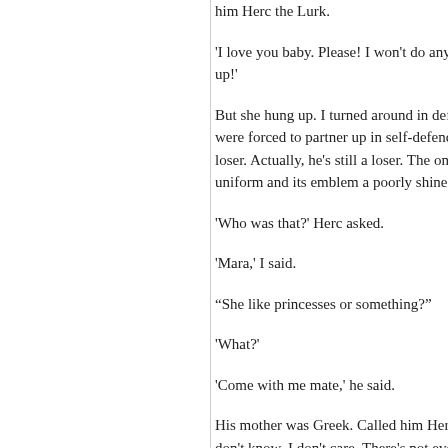him Herc the Lurk.
'I love you baby. Please! I won't do anyth... up!'
But she hung up. I turned around in defe... were forced to partner up in self-defence loser. Actually, he's still a loser. The only uniform and its emblem a poorly shined k...
'Who was that?' Herc asked.
'Mara,' I said.
“She like princesses or something?”
'What?'
'Come with me mate,' he said.
His mother was Greek. Called him Hercu... don't know. I don't care. There's not even monsters he ever gets to fight are undera...